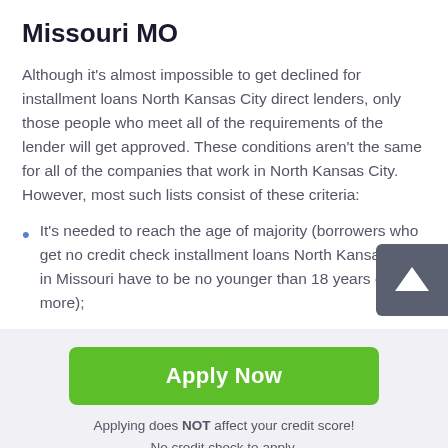Missouri MO
Although it's almost impossible to get declined for installment loans North Kansas City direct lenders, only those people who meet all of the requirements of the lender will get approved. These conditions aren't the same for all of the companies that work in North Kansas City. However, most such lists consist of these criteria:
It's needed to reach the age of majority (borrowers who get no credit check installment loans North Kansas City in Missouri have to be no younger than 18 years old or more);
Apply Now
Applying does NOT affect your credit score!
No credit check to apply.